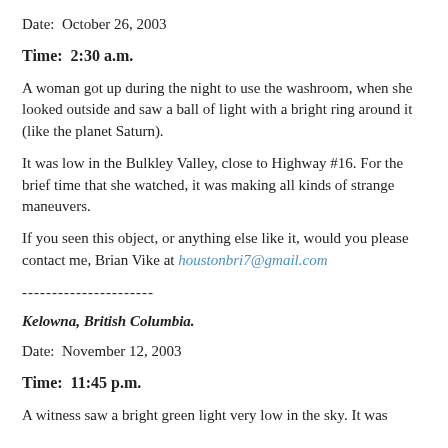Date:  October 26, 2003
Time:  2:30 a.m.
A woman got up during the night to use the washroom, when she looked outside and saw a ball of light with a bright ring around it (like the planet Saturn).
It was low in the Bulkley Valley, close to Highway #16. For the brief time that she watched, it was making all kinds of strange maneuvers.
If you seen this object, or anything else like it, would you please contact me, Brian Vike at houstonbri7@gmail.com
----------------------
Kelowna, British Columbia.
Date:  November 12, 2003
Time:  11:45 p.m.
A witness saw a bright green light very low in the sky. It was